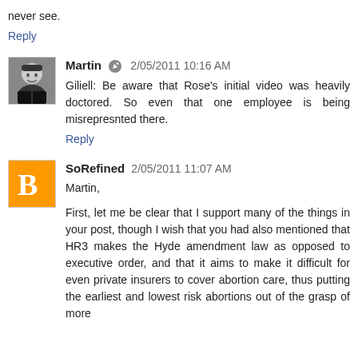never see.
Reply
Martin  2/05/2011 10:16 AM
Giliell: Be aware that Rose's initial video was heavily doctored. So even that one employee is being misrepresnted there.
Reply
SoRefined 2/05/2011 11:07 AM
Martin,
First, let me be clear that I support many of the things in your post, though I wish that you had also mentioned that HR3 makes the Hyde amendment law as opposed to executive order, and that it aims to make it difficult for even private insurers to cover abortion care, thus putting the earliest and lowest risk abortions out of the grasp of more